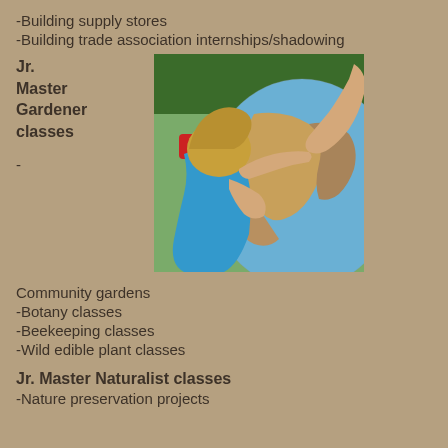-Building supply stores
-Building trade association internships/shadowing
Jr. Master Gardener classes
-
[Figure (photo): A child with curly blonde hair wearing a blue shirt pointing at a large decorative globe outdoors, with another person's hand also touching the globe.]
Community gardens
-Botany classes
-Beekeeping classes
-Wild edible plant classes
Jr. Master Naturalist classes
-Nature preservation projects